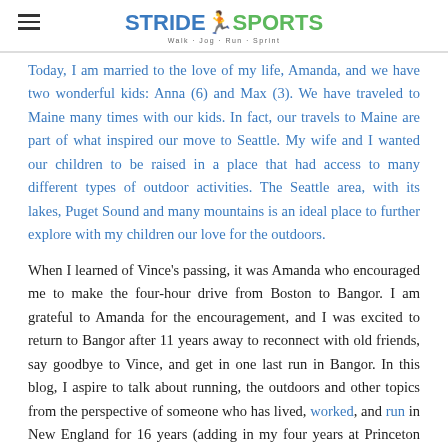[Figure (logo): StrideSports logo with running figure icon and tagline Walk - Jog - Run - Sprint]
Today, I am married to the love of my life, Amanda, and we have two wonderful kids: Anna (6) and Max (3). We have traveled to Maine many times with our kids. In fact, our travels to Maine are part of what inspired our move to Seattle. My wife and I wanted our children to be raised in a place that had access to many different types of outdoor activities. The Seattle area, with its lakes, Puget Sound and many mountains is an ideal place to further explore with my children our love for the outdoors.

When I learned of Vince's passing, it was Amanda who encouraged me to make the four-hour drive from Boston to Bangor. I am grateful to Amanda for the encouragement, and I was excited to return to Bangor after 11 years away to reconnect with old friends, say goodbye to Vince, and get in one last run in Bangor. In this blog, I aspire to talk about running, the outdoors and other topics from the perspective of someone who has lived, worked, and run in New England for 16 years (adding in my four years at Princeton University, I've had 20